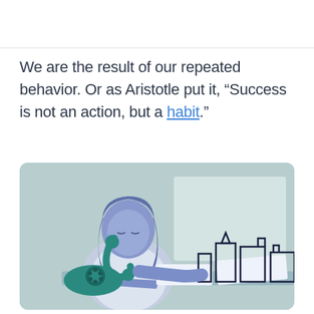We are the result of our repeated behavior. Or as Aristotle put it, “Success is not an action, but a habit.”
[Figure (illustration): Illustration of a woman sitting at a desk, talking on a telephone, appearing to be working or studying. In the background there are abstract cityscape shapes. The color palette is muted blue-green tones.]